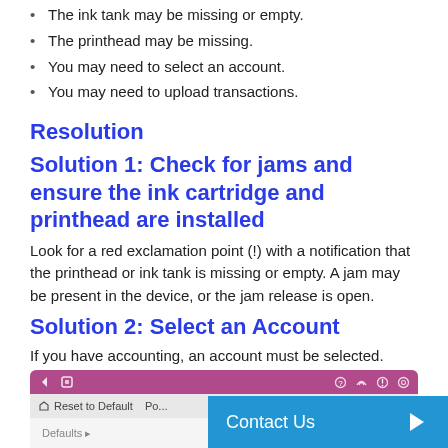The ink tank may be missing or empty.
The printhead may be missing.
You may need to select an account.
You may need to upload transactions.
Resolution
Solution 1: Check for jams and ensure the ink cartridge and printhead are installed
Look for a red exclamation point (!) with a notification that the printhead or ink tank is missing or empty. A jam may be present in the device, or the jam release is open.
Solution 2: Select an Account
If you have accounting, an account must be selected.
[Figure (screenshot): Screenshot of device control panel interface showing a menu bar with Reset to Default option and a purple top bar with navigation icons.]
Contact Us